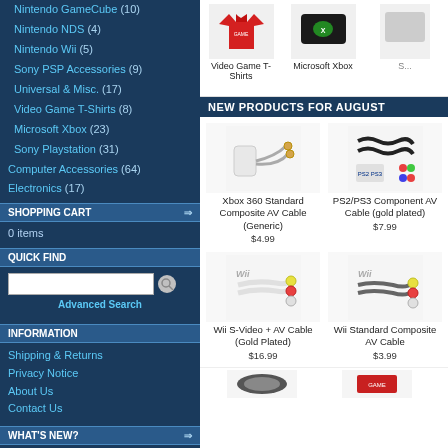Nintendo GameCube (10)
Nintendo NDS (4)
Nintendo Wii (5)
Sony PSP Accessories (9)
Universal & Misc. (17)
Video Game T-Shirts (8)
Microsoft Xbox (23)
Sony Playstation (31)
Computer Accessories (64)
Electronics (17)
SHOPPING CART
0 items
QUICK FIND
Advanced Search
INFORMATION
Shipping & Returns
Privacy Notice
About Us
Contact Us
WHAT'S NEW?
[Figure (photo): Video Game T-Shirts product thumbnail]
Video Game T-Shirts
[Figure (photo): Microsoft Xbox product thumbnail]
Microsoft Xbox
NEW PRODUCTS FOR AUGUST
[Figure (photo): Xbox 360 Standard Composite AV Cable (Generic) product image]
Xbox 360 Standard Composite AV Cable (Generic)
$4.99
[Figure (photo): PS2/PS3 Component AV Cable (gold plated) product image]
PS2/PS3 Component AV Cable (gold plated)
$7.99
[Figure (photo): Wii S-Video + AV Cable (Gold Plated) product image]
Wii S-Video + AV Cable (Gold Plated)
$16.99
[Figure (photo): Wii Standard Composite AV Cable product image]
Wii Standard Composite AV Cable
$3.99